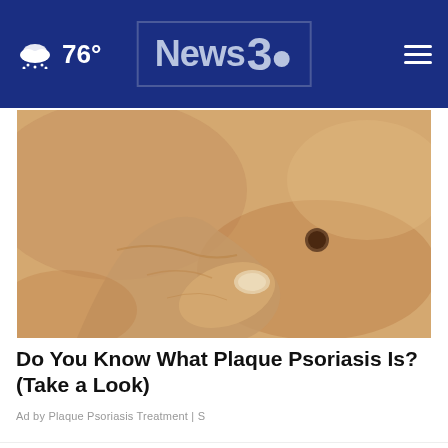76° News3 (navigation header)
[Figure (photo): Close-up of a hand touching a mole or skin lesion on a person's skin, related to plaque psoriasis article]
Do You Know What Plaque Psoriasis Is? (Take a Look)
Ad by Plaque Psoriasis Treatment | S
AROUND THE WEB
[Figure (photo): Photo of a man's face partially visible behind a popup advertisement overlay]
✓ Dine-in  ✓ Takeout  ✓ Delivery  [sweetFrog ad with close button X]